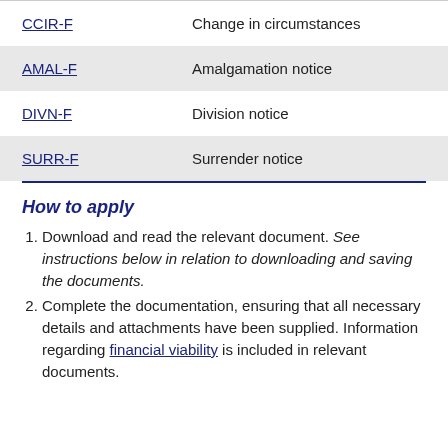CCIR-F — Change in circumstances
AMAL-F — Amalgamation notice
DIVN-F — Division notice
SURR-F — Surrender notice
How to apply
Download and read the relevant document. See instructions below in relation to downloading and saving the documents.
Complete the documentation, ensuring that all necessary details and attachments have been supplied. Information regarding financial viability is included in relevant documents.